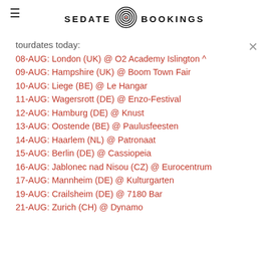SEDATE BOOKINGS
tourdates today:
08-AUG: London (UK) @ O2 Academy Islington ^
09-AUG: Hampshire (UK) @ Boom Town Fair
10-AUG: Liege (BE) @ Le Hangar
11-AUG: Wagersrott (DE) @ Enzo-Festival
12-AUG: Hamburg (DE) @ Knust
13-AUG: Oostende (BE) @ Paulusfeesten
14-AUG: Haarlem (NL) @ Patronaat
15-AUG: Berlin (DE) @ Cassiopeia
16-AUG: Jablonec nad Nisou (CZ) @ Eurocentrum
17-AUG: Mannheim (DE) @ Kulturgarten
19-AUG: Crailsheim (DE) @ 7180 Bar
21-AUG: Zurich (CH) @ Dynamo